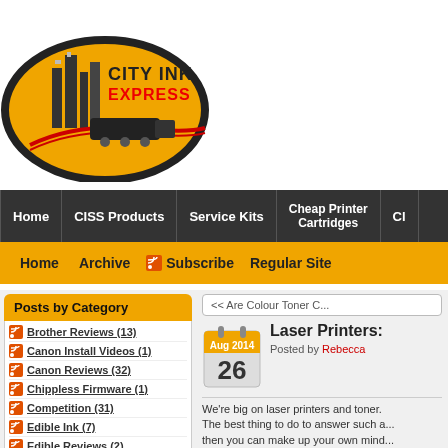[Figure (logo): City Ink Express logo with city skyline and train on yellow/black background]
Home | CISS Products | Service Kits | Cheap Printer Cartridges | Cl...
Home | Archive | Subscribe | Regular Site
Posts by Category
Brother Reviews (13)
Canon Install Videos (1)
Canon Reviews (32)
Chippless Firmware (1)
Competition (31)
Edible Ink (7)
Edible Reviews (2)
Epson Reviews (50)
<< Are Colour Toner C...
[Figure (illustration): Calendar icon showing Aug 2014, day 26]
Laser Printers:
Posted by Rebecca
We're big on laser printers and toner. The best thing to do to answer such a... then you can make up your own mind...
Advantages